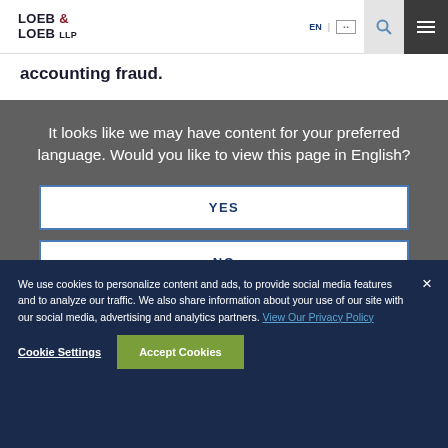LOEB & LOEB LLP | EN | [language icon]
accounting fraud.
It looks like we may have content for your preferred language. Would you like to view this page in English?
YES
NO
We use cookies to personalize content and ads, to provide social media features and to analyze our traffic. We also share information about your use of our site with our social media, advertising and analytics partners. View Our Privacy Policy
Cookie Settings
Accept Cookies